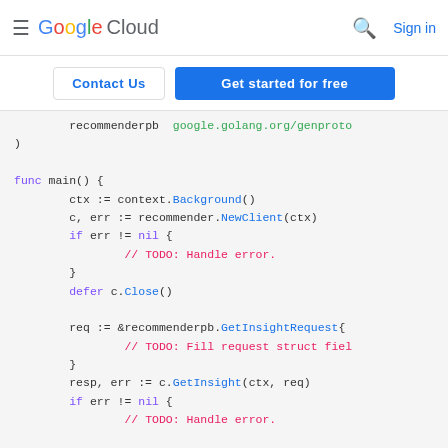Google Cloud | Sign in
Contact Us | Get started for free
[Figure (screenshot): Google Cloud documentation page showing Go code snippet with syntax highlighting for a recommender API client usage example including context, NewClient, GetInsightRequest, and GetInsight function calls]